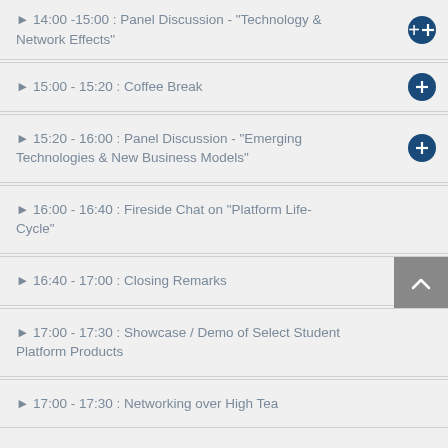▶ 14:00 -15:00 : Panel Discussion - "Technology & Network Effects"
▶ 15:00 - 15:20 : Coffee Break
▶ 15:20 - 16:00 : Panel Discussion - "Emerging Technologies & New Business Models"
▶ 16:00 - 16:40 : Fireside Chat on "Platform Life-Cycle"
▶ 16:40 - 17:00 : Closing Remarks
▶ 17:00 - 17:30 : Showcase / Demo of Select Student Platform Products
▶ 17:00 - 17:30 : Networking over High Tea